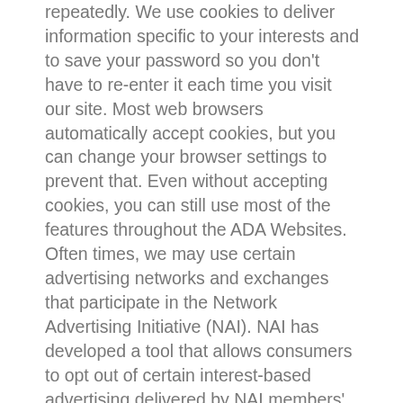repeatedly. We use cookies to deliver information specific to your interests and to save your password so you don't have to re-enter it each time you visit our site. Most web browsers automatically accept cookies, but you can change your browser settings to prevent that. Even without accepting cookies, you can still use most of the features throughout the ADA Websites. Often times, we may use certain advertising networks and exchanges that participate in the Network Advertising Initiative (NAI). NAI has developed a tool that allows consumers to opt out of certain interest-based advertising delivered by NAI members' ad networks. To learn more about opting out of such targeted advertising or to use the NAI tool, click here. Please be aware that such opt-outs do not affect non-targeted ads. We are not responsible for the effectiveness of, or compliance with, any third-parties' opt-out mechanisms or programs, or the accuracy of their